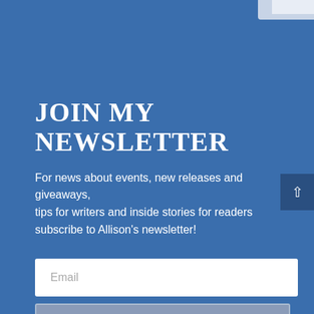JOIN MY NEWSLETTER
For news about events, new releases and giveaways, tips for writers and inside stories for readers subscribe to Allison’s newsletter!
[Figure (screenshot): Email input field with placeholder text 'Email' and a Subscribe button below it, on a blue background. A dark blue scroll-to-top arrow button appears on the right edge.]